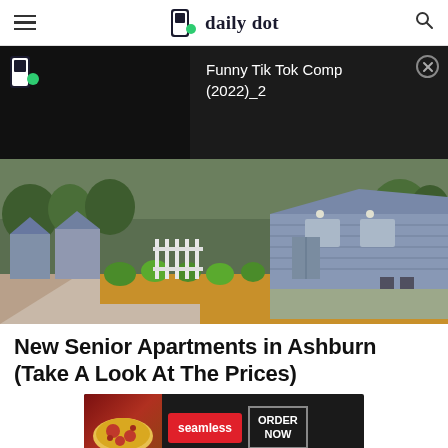daily dot
[Figure (screenshot): Video overlay on dark background showing Daily Dot logo and overlay box with text 'Funny Tik Tok Comp (2022)_2' with a close button]
[Figure (photo): Outdoor photo of a row of blue/grey senior apartment cottages with green shrubs, a paved walkway, and brown mulched ground]
New Senior Apartments in Ashburn (Take A Look At The Prices)
[Figure (screenshot): Seamless food delivery advertisement banner with pizza image, red Seamless button, and 'ORDER NOW' button on dark background]